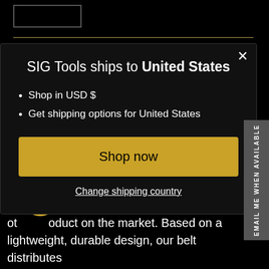[Figure (screenshot): Top rectangle placeholder outline]
SIG Tools ships to United States
Shop in USD $
Get shipping options for United States
Shop now
Change shipping country
ot...oduct on the market. Based on a lightweight, durable design, our belt distributes
EMAIL ME WHEN AVAILABLE